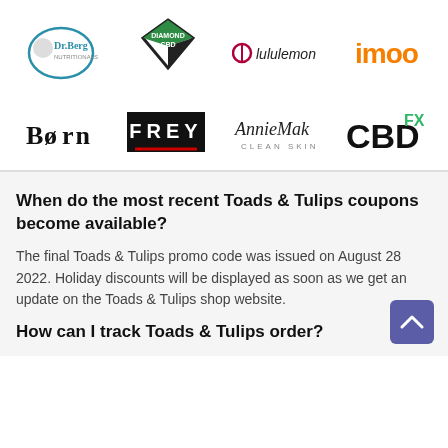[Figure (logo): Dr.Berg logo - circular teal badge with portrait]
[Figure (logo): Diamond CBD logo - green and black diamond shape with text]
[Figure (logo): lululemon logo - omega symbol with lululemon text in red/dark]
[Figure (logo): imoo logo - orange bold text]
[Figure (logo): Born logo - serif bold text with strikethrough O]
[Figure (logo): FREY logo - white text on black box with red underline]
[Figure (logo): AnnieMak Clean Skincare logo - script text]
[Figure (logo): CBDfx logo - black bold CBD with green FX superscript]
When do the most recent Toads & Tulips coupons become available?
The final Toads & Tulips promo code was issued on August 28 2022. Holiday discounts will be displayed as soon as we get an update on the Toads & Tulips shop website.
How can I track Toads & Tulips order?